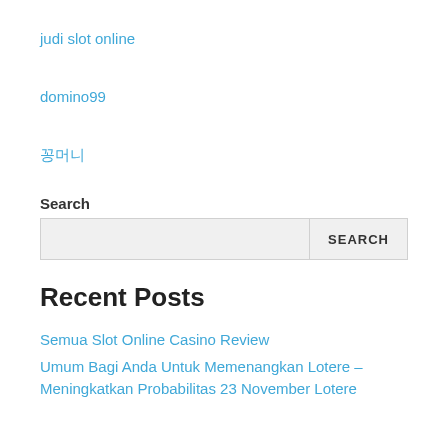judi slot online
domino99
꽁머니
Search
Recent Posts
Semua Slot Online Casino Review
Umum Bagi Anda Untuk Memenangkan Lotere – Meningkatkan Probabilitas 23 November Lotere